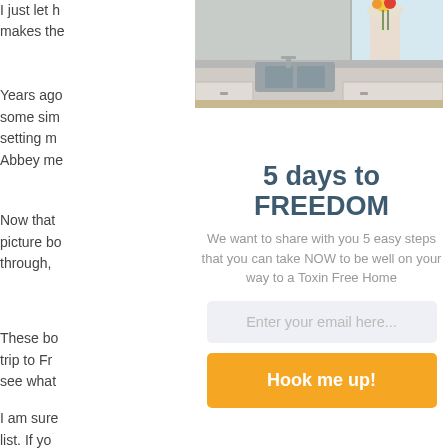I just let h makes the
[Figure (photo): Kitchen counter with sink, white cabinets, and flowers in a vase near a window]
Years ago some sim setting m Abbey me
5 days to FREEDOM
Now that picture bo through,
We want to share with you 5 easy steps that you can take NOW to be well on your way to a Toxin Free Home
These bo trip to Fr see what
Enter your email here...
Hook me up!
I am sure list. If yo